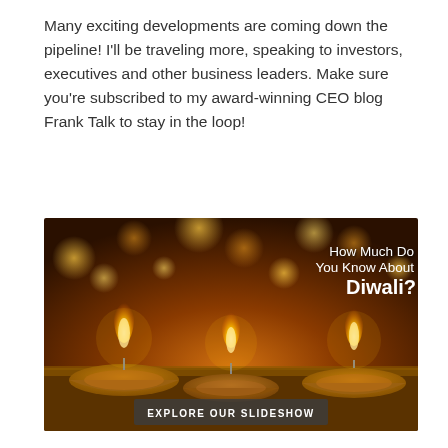Many exciting developments are coming down the pipeline! I'll be traveling more, speaking to investors, executives and other business leaders. Make sure you're subscribed to my award-winning CEO blog Frank Talk to stay in the loop!
[Figure (photo): Photo of Diwali oil lamps (diyas) with candle flames against a warm bokeh background. Overlay text reads 'How Much Do You Know About Diwali?' with a button labeled 'EXPLORE OUR SLIDESHOW'.]